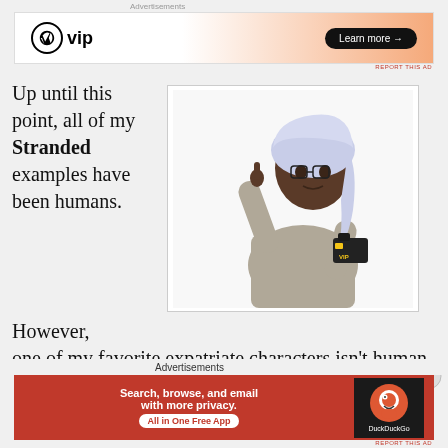Advertisements
[Figure (screenshot): WordPress VIP advertisement banner with orange gradient background and 'Learn more →' button]
Up until this point, all of my Stranded examples have been humans.
[Figure (photo): Person wearing a white towel on head, holding a camera, pointing upward with one finger, on white background]
However, one of my favorite expatriate characters isn't human
Advertisements
[Figure (screenshot): DuckDuckGo advertisement banner with red background: 'Search, browse, and email with more privacy. All in One Free App' with DuckDuckGo logo on dark background]